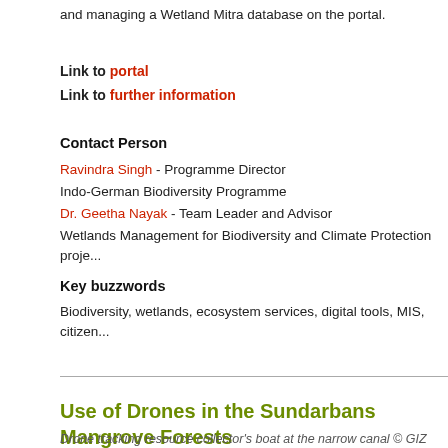and managing a Wetland Mitra database on the portal.
Link to portal
Link to further information
Contact Person
Ravindra Singh - Programme Director
Indo-German Biodiversity Programme
Dr. Geetha Nayak - Team Leader and Advisor
Wetlands Management for Biodiversity and Climate Protection proje...
Key buzzwords
Biodiversity, wetlands, ecosystem services, digital tools, MIS, citizen...
Use of Drones in the Sundarbans Mangrove Forests
Drone tracking resource collector's boat at the narrow canal © GIZ Bangladesh /...
Regular ecological monitoring as well as field patrolling is essential...